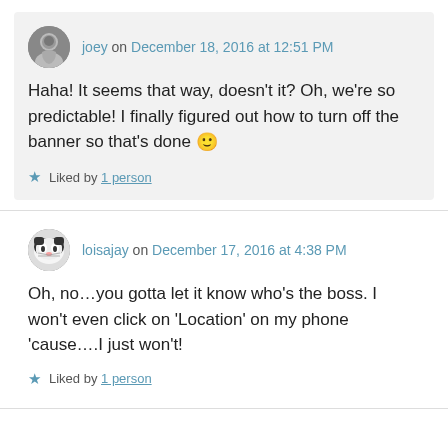joey on December 18, 2016 at 12:51 PM
Haha! It seems that way, doesn't it? Oh, we're so predictable! I finally figured out how to turn off the banner so that's done 🙂
Liked by 1 person
loisajay on December 17, 2016 at 4:38 PM
Oh, no…you gotta let it know who's the boss. I won't even click on 'Location' on my phone 'cause….I just won't!
Liked by 1 person